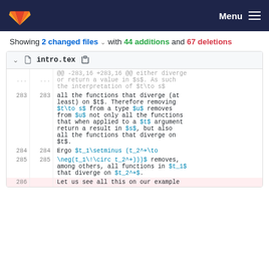GitLab logo | Menu
Showing 2 changed files with 44 additions and 67 deletions
intro.tex
@@ -283,16 +283,16 @@ either diverge or return a value in $s$. As such the interpretation of $t\to s$
283 283 all the functions that diverge (at least) on $t$. Therefore removing $t\to s$ from a type $u$ removes from $u$ not only all the functions that when applied to a $t$ argument return a result in $s$, but also all the functions that diverge on $t$.
284 284 Ergo $t_1\setminus (t_2^+\to \neg(t_1\!\circ t_2^+)))$ removes,
285 285 among others, all functions in $t_1$ that diverge on $t_2^+$.
286    Let us see all this on our example